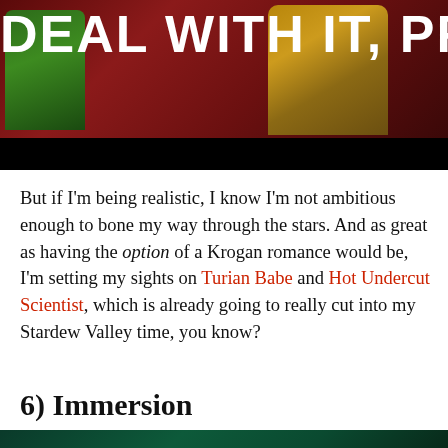[Figure (photo): Meme-style image with dark red/maroon background showing figures, with white bold text reading 'DEAL WITH IT, PRIMITIV' (cut off at edge) overlaid at the top]
But if I'm being realistic, I know I'm not ambitious enough to bone my way through the stars. And as great as having the option of a Krogan romance would be, I'm setting my sights on Turian Babe and Hot Undercut Scientist, which is already going to really cut into my Stardew Valley time, you know?
6) Immersion
[Figure (photo): Partial image at bottom of page with dark green tones, partially visible]